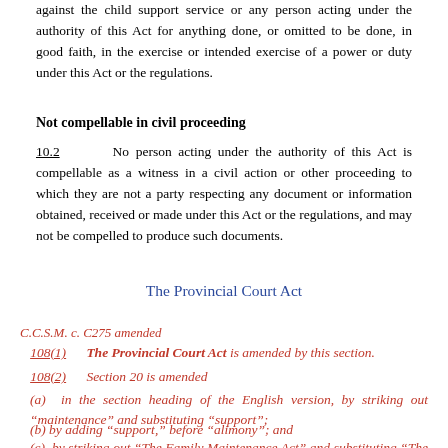against the child support service or any person acting under the authority of this Act for anything done, or omitted to be done, in good faith, in the exercise or intended exercise of a power or duty under this Act or the regulations.
Not compellable in civil proceeding
10.2   No person acting under the authority of this Act is compellable as a witness in a civil action or other proceeding to which they are not a party respecting any document or information obtained, received or made under this Act or the regulations, and may not be compelled to produce such documents.
The Provincial Court Act
C.C.S.M. c. C275 amended
108(1)   The Provincial Court Act is amended by this section.
108(2)   Section 20 is amended
(a)  in the section heading of the English version, by striking out "maintenance" and substituting "support";
(b) by adding "support," before "alimony"; and
(c) by striking out "The Family Maintenance Act" and substituting "The Family Law Act or The Family Maintenance Act for